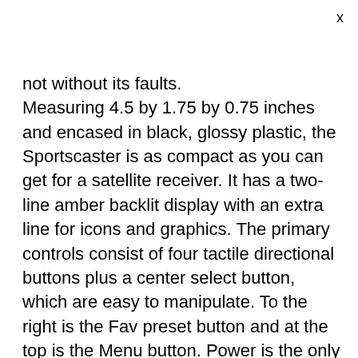x
not without its faults. Measuring 4.5 by 1.75 by 0.75 inches and encased in black, glossy plastic, the Sportscaster is as compact as you can get for a satellite receiver. It has a two-line amber backlit display with an extra line for icons and graphics. The primary controls consist of four tactile directional buttons plus a center select button, which are easy to manipulate. To the right is the Fav preset button and at the top is the Menu button. Power is the only other button on the unit. The antenna, audio out, and power port are hidden on the left side. Overall, this is a no-frills design that's much